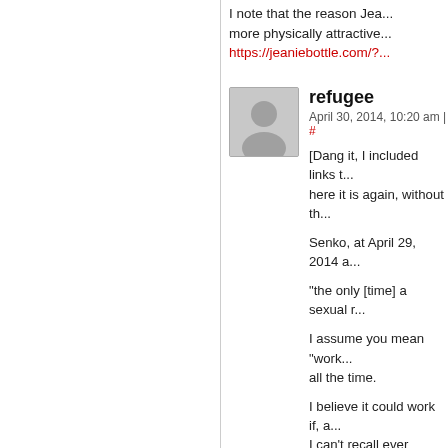I note that the reason Jea... more physically attractive https://jeaniebottle.com/?...
[Figure (illustration): Default user avatar silhouette in gray square]
refugee
April 30, 2014, 10:20 am | #
[Dang it, I included links t... here it is again, without th...
Senko, at April 29, 2014 a...
"the only [time] a sexual r...
I assume you mean "work... all the time.
I believe it could work if, a... I can't recall ever seeing.
This story presents a grea... he really asserted himself... p=47
Jeanie absolutely NEEDS... Neil doesn't learn to asse...
The Genie "Care and Fee... to it.
I'm not saying, mind, that...